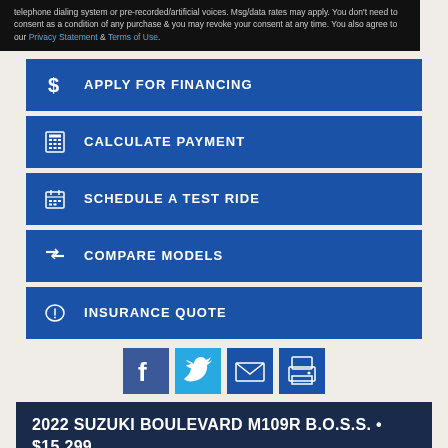telephone dialing system or pre-recorded/artificial voices. Msg/data rates may apply. You don't need to consent as a condition of any purchase & you may revoke your consent at any time. You also agree to our Privacy Statement & Terms of Use.
APPLY FOR FINANCING
CALCULATE PAYMENT
SCHEDULE A TEST RIDE
COMPARE MODELS
INSURANCE QUOTE
[Figure (infographic): Social share icons: Facebook, Twitter, Email, Print]
2022 SUZUKI BOULEVARD M109R B.O.S.S. • $15,299